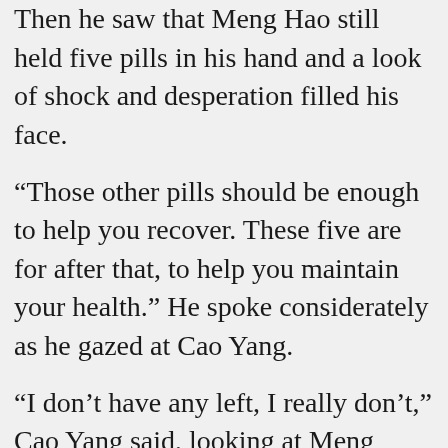Then he saw that Meng Hao still held five pills in his hand and a look of shock and desperation filled his face.
“Those other pills should be enough to help you recover. These five are for after that, to help you maintain your health.” He spoke considerately as he gazed at Cao Yang.
“I don’t have any left, I really don’t,” Cao Yang said, looking at Meng Hao, about to cry.
Meng Hao said nothing, looking as amiable as ever. Cao Yang’s scalp tingled. Gritting his teeth and ignoring his own distress, he pulled out